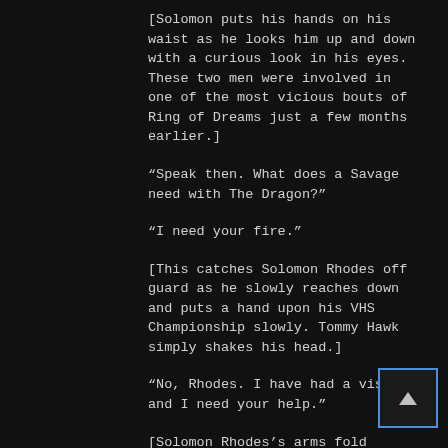[Solomon puts his hands on his waist as he looks him up and down with a curious look in his eyes. These two men were involved in one of the most vicious bouts of Ring of Dreams just a few months earlier.]
“Speak then. What does a Savage need with The Dragon?”
“I need your fire.”
[This catches Solomon Rhodes off guard as he slowly reaches down and puts a hand upon his VHS Championship slowly. Tommy Hawk simply shakes his head.]
“No, Rhodes. I have had a vision, and I need your help.”
[Solomon Rhodes’s arms fold across his chest